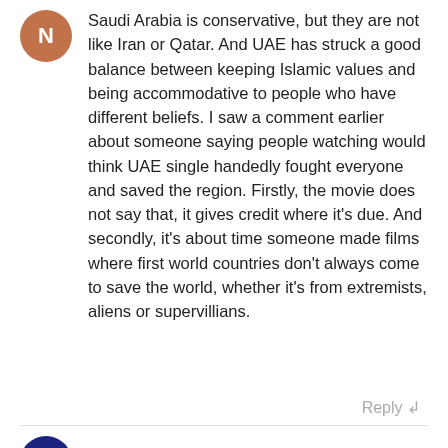Saudi Arabia is conservative, but they are not like Iran or Qatar. And UAE has struck a good balance between keeping Islamic values and being accommodative to people who have different beliefs. I saw a comment earlier about someone saying people watching would think UAE single handedly fought everyone and saved the region. Firstly, the movie does not say that, it gives credit where it's due. And secondly, it's about time someone made films where first world countries don't always come to save the world, whether it's from extremists, aliens or supervillians.
Reply ↲
Diane - 12/15/2017 at 11:28
I have been a resident of the Emirates for more than 25 years and I will agree with many things said in this film. Ok, it's got a political side to it. But I don't agree that there's...